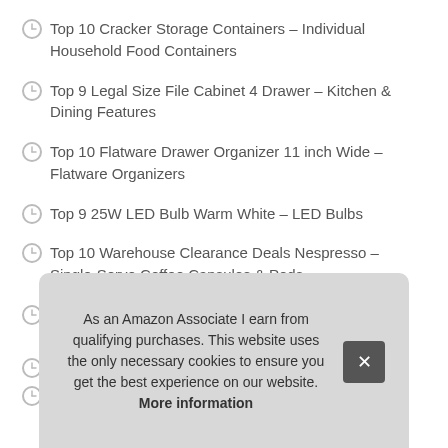Top 10 Cracker Storage Containers – Individual Household Food Containers
Top 9 Legal Size File Cabinet 4 Drawer – Kitchen & Dining Features
Top 10 Flatware Drawer Organizer 11 inch Wide – Flatware Organizers
Top 9 25W LED Bulb Warm White – LED Bulbs
Top 10 Warehouse Clearance Deals Nespresso – Single-Serve Coffee Capsules & Pods
Top 10 Steam Diverter for Ninja Foodi – Pressure Cooker Accessories
T...
T...
As an Amazon Associate I earn from qualifying purchases. This website uses the only necessary cookies to ensure you get the best experience on our website. More information